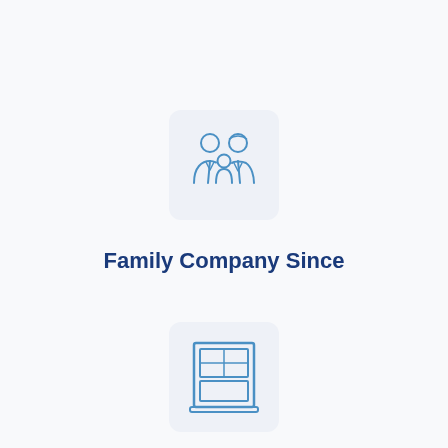[Figure (illustration): Family icon showing two adults and a child, outlined in blue, inside a light grey rounded square box]
Family Company Since
[Figure (illustration): Window/door icon outlined in blue, inside a light grey rounded square box]